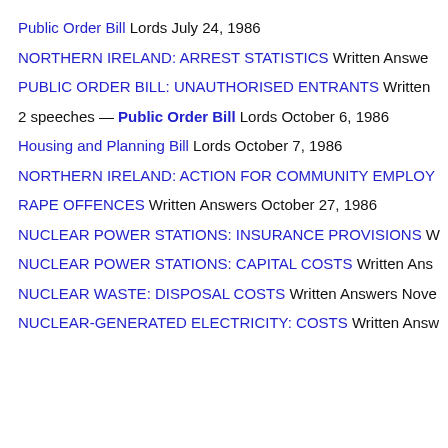Public Order Bill Lords July 24, 1986
NORTHERN IRELAND: ARREST STATISTICS Written Answers
PUBLIC ORDER BILL: UNAUTHORISED ENTRANTS Written
2 speeches — Public Order Bill Lords October 6, 1986
Housing and Planning Bill Lords October 7, 1986
NORTHERN IRELAND: ACTION FOR COMMUNITY EMPLOY
RAPE OFFENCES Written Answers October 27, 1986
NUCLEAR POWER STATIONS: INSURANCE PROVISIONS W
NUCLEAR POWER STATIONS: CAPITAL COSTS Written Ans
NUCLEAR WASTE: DISPOSAL COSTS Written Answers Nove
NUCLEAR-GENERATED ELECTRICITY: COSTS Written Answ